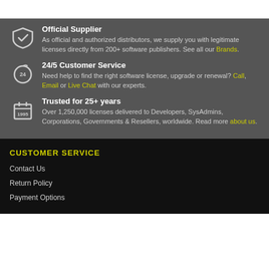Official Supplier
As official and authorized distributors, we supply you with legitimate licenses directly from 200+ software publishers. See all our Brands.
24/5 Customer Service
Need help to find the right software license, upgrade or renewal? Call, Email or Live Chat with our experts.
Trusted for 25+ years
Over 1,250,000 licenses delivered to Developers, SysAdmins, Corporations, Governments & Resellers, worldwide. Read more about us.
CUSTOMER SERVICE
Contact Us
Return Policy
Payment Options